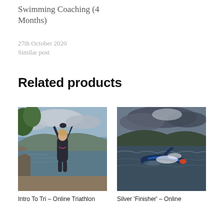Swimming Coaching (4 Months)
27th October 2020
Similar post
Related products
[Figure (photo): Person in wetsuit standing at edge of a lake with arms raised above head, cloudy sky and mountains in background]
[Figure (photo): Person swimming in open water lake in wetsuit, head down mid-stroke with splash, cloudy sky and mountains in background]
Intro To Tri – Online Triathlon
Silver 'Finisher' – Online